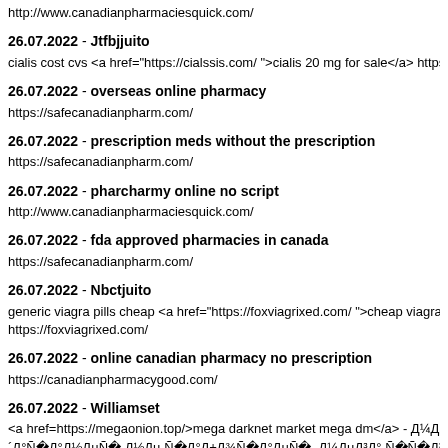http://www.canadianpharmaciesquick.com/
26.07.2022 - Jtfbjjuito
cialis cost cvs <a href="https://cialssis.com/ ">cialis 20 mg for sale</a> https://c
26.07.2022 - overseas online pharmacy
https://safecanadianpharm.com/
26.07.2022 - prescription meds without the prescription
https://safecanadianpharm.com/
26.07.2022 - pharcharmy online no script
http://www.canadianpharmaciesquick.com/
26.07.2022 - fda approved pharmacies in canada
https://safecanadianpharm.com/
26.07.2022 - Nbctjuito
generic viagra pills cheap <a href="https://foxviagrixed.com/ ">cheap viagra no
https://foxviagrixed.com/
26.07.2022 - online canadian pharmacy no prescription
https://canadianpharmacygood.com/
26.07.2022 - Williamset
<a href=https://megaonion.top/>mega darknet market mega dm</a> - Д¼ДµД³´Д°Ñ�Д°Д½ДµÑ� Д½Дµ Ñ�Д°Д±Д¾Ñ�Д°ДµÑ�, Д¼ДµД³Д° Ñ�Ñ�Д³